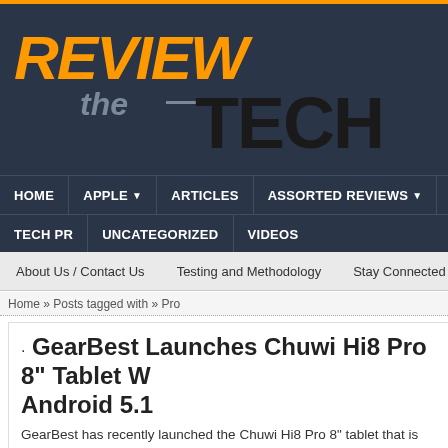[Figure (logo): Review the Tech website logo with orange REVIEW text, grey 'the' text, and black TECH text on dark navy background]
HOME | APPLE ▼ | ARTICLES | ASSORTED REVIEWS ▼ | GA | TECH PR | UNCATEGORIZED | VIDEOS
About Us / Contact Us   Testing and Methodology   Stay Connected
Home » Posts tagged with » Pro
GearBest Launches Chuwi Hi8 Pro 8" Tablet W... Android 5.1
GearBest has recently launched the Chuwi Hi8 Pro 8" tablet that is running and it's priced under $100.
April